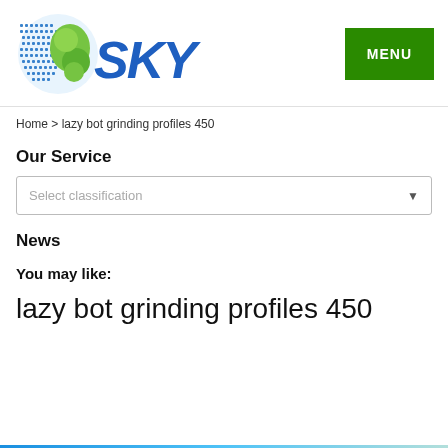[Figure (logo): SKY company logo with globe icon in blue/green and stylized 'SKY' text in blue]
[Figure (other): Green MENU button in top right corner]
Home > lazy bot grinding profiles 450
Our Service
[Figure (other): Dropdown selector with placeholder text 'Select classification' and a down arrow]
News
You may like:
lazy bot grinding profiles 450